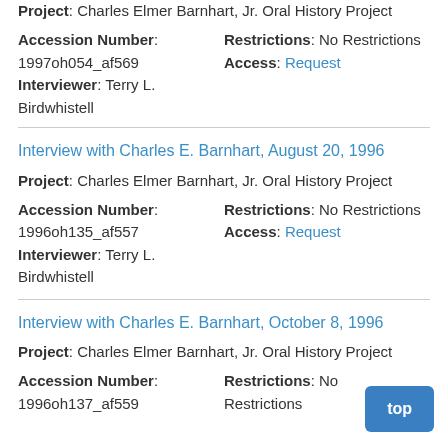Project: Charles Elmer Barnhart, Jr. Oral History Project
Accession Number: 1997oh054_af569
Interviewer: Terry L. Birdwhistell
Restrictions: No Restrictions
Access: Request
Interview with Charles E. Barnhart, August 20, 1996
Project: Charles Elmer Barnhart, Jr. Oral History Project
Accession Number: 1996oh135_af557
Interviewer: Terry L. Birdwhistell
Restrictions: No Restrictions
Access: Request
Interview with Charles E. Barnhart, October 8, 1996
Project: Charles Elmer Barnhart, Jr. Oral History Project
Accession Number: 1996oh137_af559
Restrictions: No Restrictions